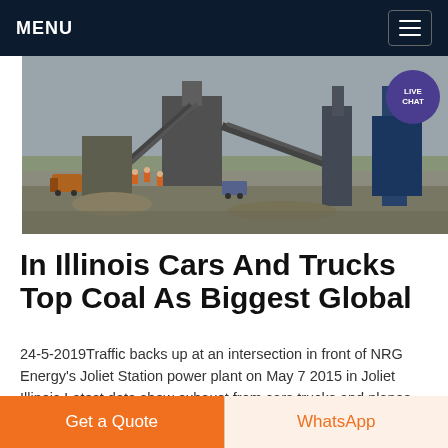MENU
[Figure (photo): Aerial view of a coal mining or quarry site with heavy industrial machinery, conveyor belts, and equipment. Workers visible in orange vests. Trucks and industrial structures on dusty ground.]
In Illinois Cars And Trucks Top Coal As Biggest Global
24-5-2019Traffic backs up at an intersection in front of NRG Energy's Joliet Station power plant on May 7 2015 in Joliet Illinois Latest data show exhaust from cars trucks and planes has overtaken coal plants as Illinois' single-biggest source of carbon dioxide emissions the largest
Get a Quote | WhatsApp